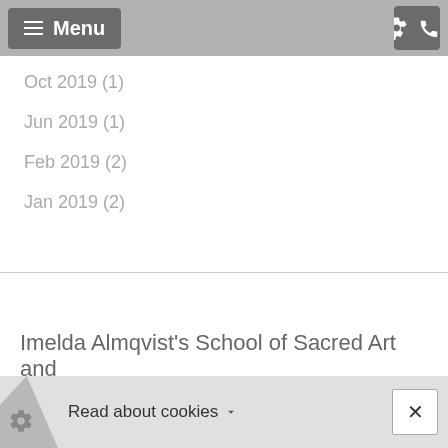Menu
Oct 2019 (1)
Jun 2019 (1)
Feb 2019 (2)
Jan 2019 (2)
Imelda Almqvist's School of Sacred Art and
Read about cookies